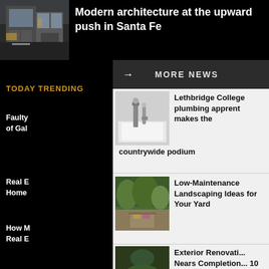[Figure (photo): Modern architecture exterior of a house with large windows]
Modern architecture at the upward push in Santa Fe
MORE NEWS
TODAY TRENDING
Faulty... of Gal...
Real E... Home...
How M... Real E...
[Figure (photo): Bathroom plumbing fixtures, faucet and shower head]
Lethbridge College plumbing apprent makes the countrywide podium
[Figure (photo): Garden landscaping with plants and outdoor furniture]
Low-Maintenance Landscaping Ideas for Your Yard
[Figure (photo): Ornate architectural dome or ceiling renovation]
Exterior Renovati... Nears Completion... 10 Grand Central